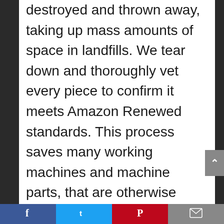destroyed and thrown away, taking up mass amounts of space in landfills. We tear down and thoroughly vet every piece to confirm it meets Amazon Renewed standards. This process saves many working machines and machine parts, that are otherwise well-functioning, from being becoming scrap trash that can pollute our soil, waterways, and air if improperly discarded. Buying a refurbished laptop is the easiest way to do your part for a cleaner, greener planet! We offer premium quality, commercial grade laptops, desktops and more for corporate or home use. We are a Microsoft Registered Refurbisher, which means we must follow